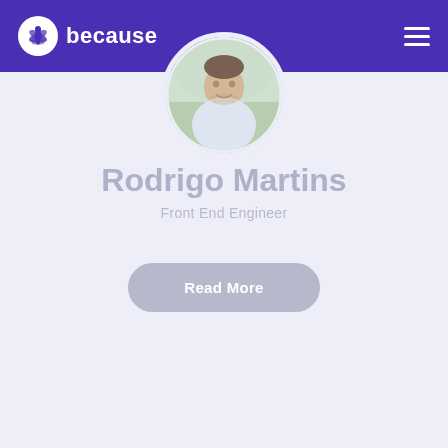because
[Figure (photo): Circular profile photo of Rodrigo Martins, a man in a light-colored shirt, partially visible at the top of the page overlapping the purple navbar and white content area]
Rodrigo Martins
Front End Engineer
Read More